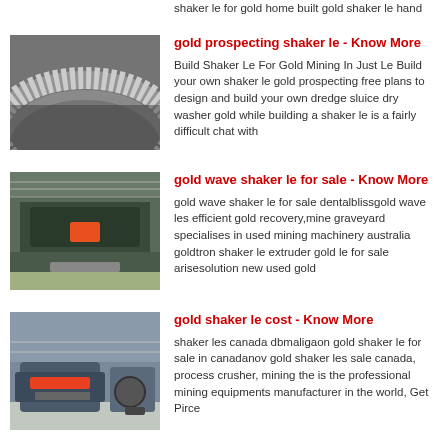shaker le for gold home built gold shaker le hand
[Figure (photo): Close-up of a curved metallic surface, possibly a drum or sluice component for gold mining]
gold prospecting shaker le - Know More
Build Shaker Le For Gold Mining In Just Le Build your own shaker le gold prospecting free plans to design and build your own dredge sluice dry washer gold while building a shaker le is a fairly difficult chat with
[Figure (photo): Industrial shaker table machine in a large warehouse/factory setting]
gold wave shaker le for sale - Know More
gold wave shaker le for sale dentalblissgold wave les efficient gold recovery,mine graveyard specialises in used mining machinery australia goldtron shaker le extruder gold le for sale arisesolution new used gold
[Figure (photo): Mining crusher/screening equipment in an industrial facility]
gold shaker le cost - Know More
shaker les canada dbmaligaon gold shaker le for sale in canadanov gold shaker les sale canada, process crusher, mining the is the professional mining equipments manufacturer in the world, Get Pirce